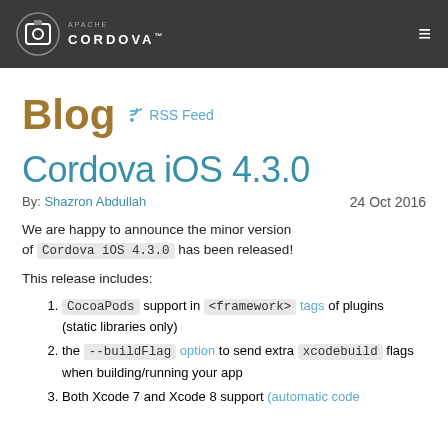Apache Cordova — Blog
Blog  RSS Feed
Cordova iOS 4.3.0
By: Shazron Abdullah   24 Oct 2016
We are happy to announce the minor version of Cordova iOS 4.3.0 has been released!
This release includes:
CocoaPods support in <framework> tags of plugins (static libraries only)
the --buildFlag option to send extra xcodebuild flags when building/running your app
Both Xcode 7 and Xcode 8 support (automatic code